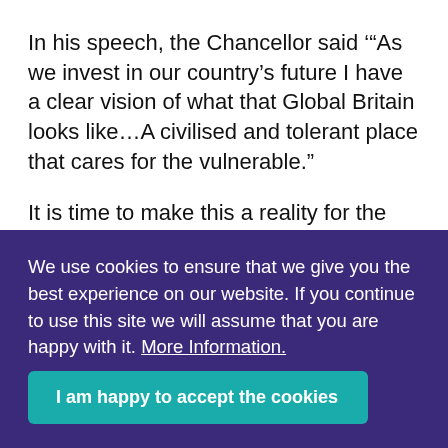In his speech, the Chancellor said '"As we invest in our country's future I have a clear vision of what that Global Britain looks like…A civilised and tolerant place that cares for the vulnerable."
It is time to make this a reality for the 49,000 children and young people with life limiting
We use cookies to ensure that we give you the best experience on our website. If you continue to use this site we will assume that you are happy with it. More Information.
I am happy to accept the cookies